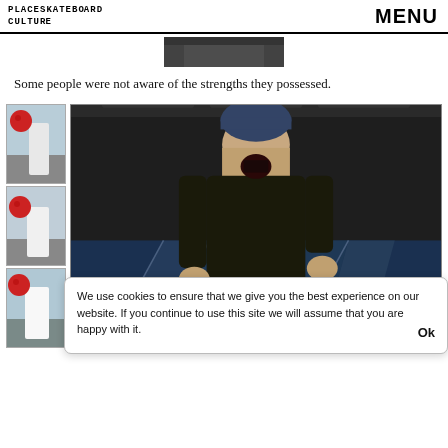PLACESKATEBOARD CULTURE   MENU
[Figure (photo): Partial photo at top, showing skateboard related content, cropped]
Some people were not aware of the strengths they possessed.
[Figure (photo): Strip of three small photos on left showing person holding red bowling ball, and large center photo of man in bowling alley wearing dark jacket, khaki pants, and blue beanie, mouth open, standing in front of bowling lanes]
We use cookies to ensure that we give you the best experience on our website. If you continue to use this site we will assume that you are happy with it. Ok